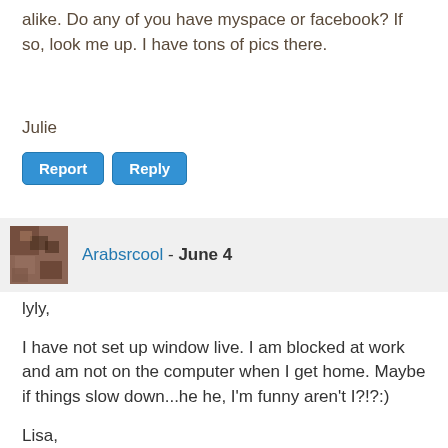alike. Do any of you have myspace or facebook? If so, look me up. I have tons of pics there.
Julie
Report  Reply
Arabsrcool - June 4
lyly,

I have not set up window live. I am blocked at work and am not on the computer when I get home. Maybe if things slow down...he he, I'm funny aren't I?!?:)

Lisa,

My 3-D u/s is set for June 19 at 10:30am.